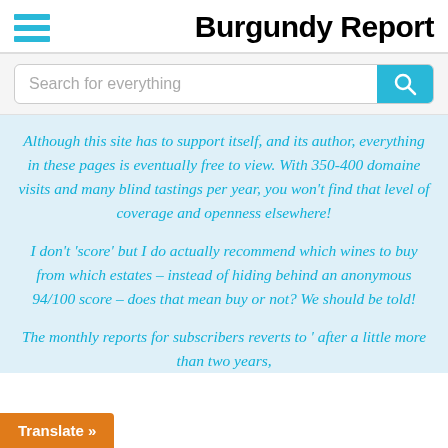Burgundy Report
Search for everything
Although this site has to support itself, and its author, everything in these pages is eventually free to view. With 350-400 domaine visits and many blind tastings per year, you won't find that level of coverage and openness elsewhere!
I don't 'score' but I do actually recommend which wines to buy from which estates – instead of hiding behind an anonymous 94/100 score – does that mean buy or not? We should be told!
The monthly reports for subscribers reverts to ' after a little more than two years,